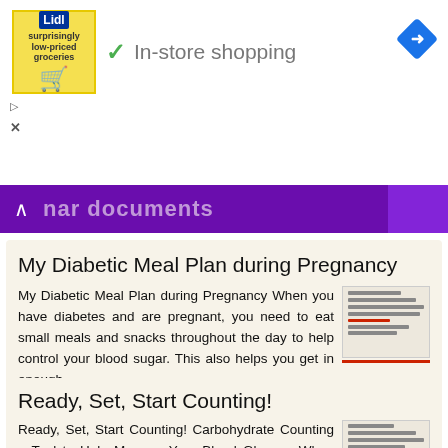[Figure (screenshot): Advertisement banner showing Lidl logo with grocery bag, checkmark icon and 'In-store shopping' text, navigation arrow icon on right]
nar documents
My Diabetic Meal Plan during Pregnancy
My Diabetic Meal Plan during Pregnancy When you have diabetes and are pregnant, you need to eat small meals and snacks throughout the day to help control your blood sugar. This also helps you get in enough
More information →
Ready, Set, Start Counting!
Ready, Set, Start Counting! Carbohydrate Counting a Tool to Help Manage Your Blood Glucose When you have diabetes, keeping